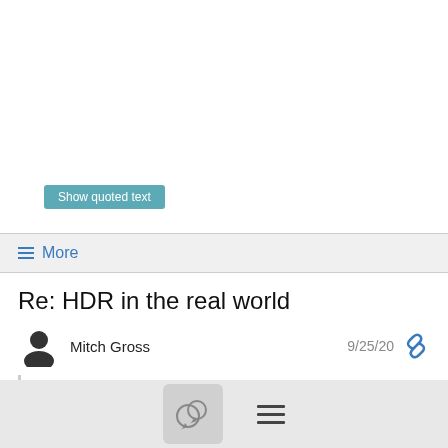Show quoted text
≡ More
Re: HDR in the real world
Mitch Gross
9/25/20
On Sep 25, 2020, at 1:25 PM, Brian Heller